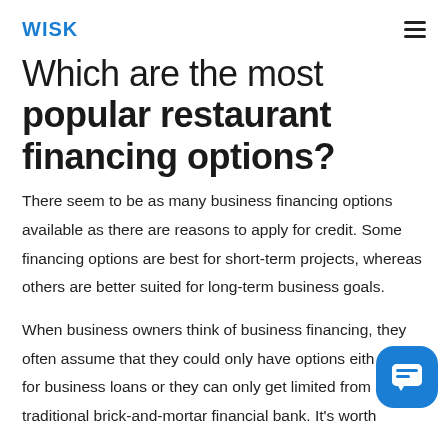WISK
Which are the most popular restaurant financing options?
There seem to be as many business financing options available as there are reasons to apply for credit. Some financing options are best for short-term projects, whereas others are better suited for long-term business goals.
When business owners think of business financing, they often assume that they could only have options either apply for business loans or they can only get limited from a traditional brick-and-mortar financial bank. It's worth